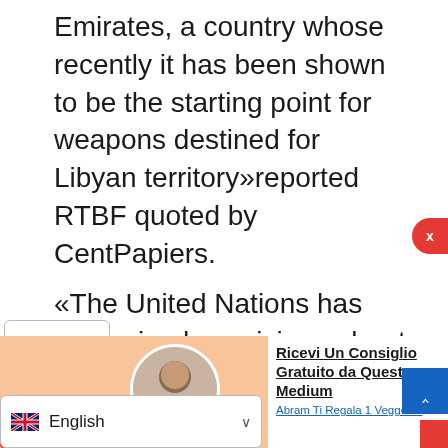Emirates, a country whose recently it has been shown to be the starting point for weapons destined for Libyan territory»reported RTBF quoted by CentPapiers.
«The United Nations has also raised suspicions about Ostend. Inspectors found “suspicious items” on the load notes late last year. They asked for an explanation from the Belgian authorities, who replied that they had inspected lane for Libya, in which no prohibited product
[Figure (infographic): Advertisement banner with person avatar, arrow, and text 'Ricevi Un Consiglio Gratuito da Questo Medium' with subtext 'Abram Ti Regala 1 Veggenz.']
[Figure (infographic): Language selector bar showing English with UK flag and dropdown chevron]